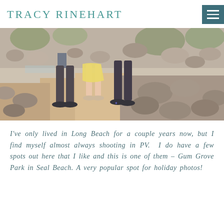TRACY RINEHART
[Figure (photo): Close-up outdoor photo showing the legs and feet of people standing on a rocky, sandy ground. A child in a yellow skirt and flat shoes stands next to an adult in dark pants and dark shoes. Rocks and greenery visible in the background.]
I've only lived in Long Beach for a couple years now, but I find myself almost always shooting in PV. I do have a few spots out here that I like and this is one of them – Gum Grove Park in Seal Beach. A very popular spot for holiday photos!